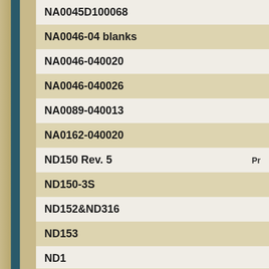NA0045D100068
NA0046-04 blanks
NA0046-040020
NA0046-040026
NA0089-040013
NA0162-040020
ND150 Rev. 5
ND150-3S
ND152&ND316
ND153
ND1...